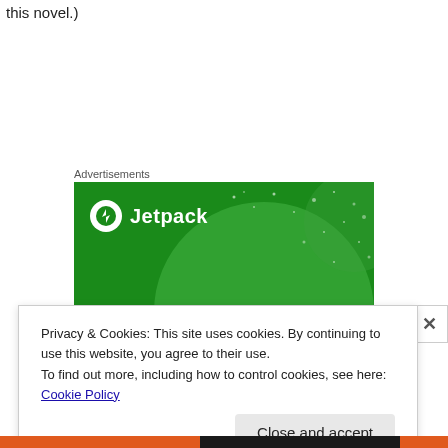this novel.)
Advertisements
[Figure (screenshot): Jetpack advertisement banner with green background, Jetpack logo, and headline 'The best real-time']
Privacy & Cookies: This site uses cookies. By continuing to use this website, you agree to their use.
To find out more, including how to control cookies, see here: Cookie Policy